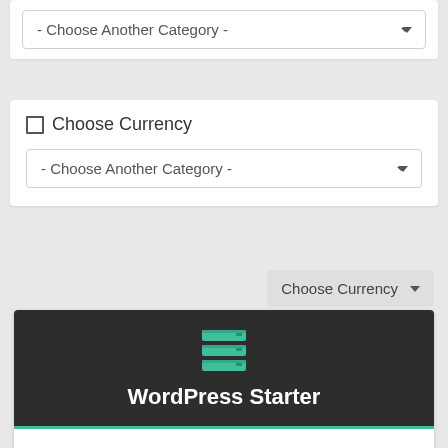- Choose Another Category -
Choose Currency
- Choose Another Category -
Choose Currency
WordPress Starter
Get started with WordPress and create an instant online presence on our Standard plan
5 Email Accounts